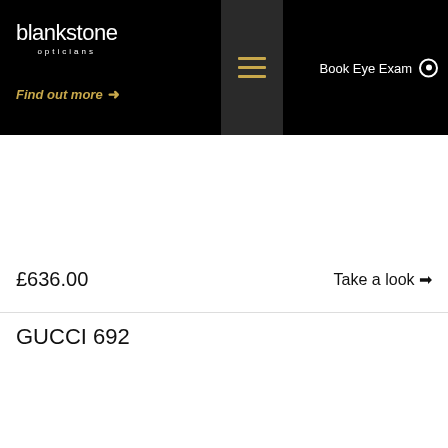blankstone opticians | Book Eye Exam | Find out more
£636.00
Take a look →
GUCCI 692